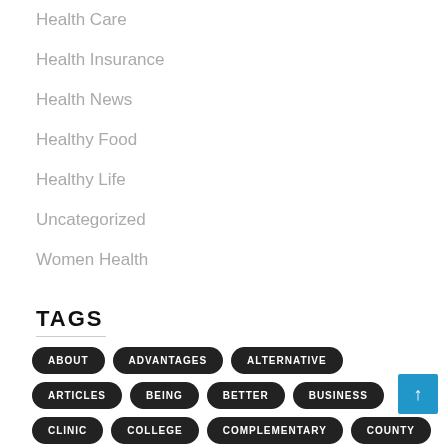Health Care
Health Insurance
Health News
Healthy Food
Healthy Life
Uncategorized
Women Health
TAGS
ABOUT
ADVANTAGES
ALTERNATIVE
ARTICLES
BEING
BETTER
BUSINESS
CLINIC
COLLEGE
COMPLEMENTARY
COUNTY
COVERAGE
DEPARTMENT
DIFFERENT
DIVISION
DRUGS
DWELLING
EDUCATION
FACULTY